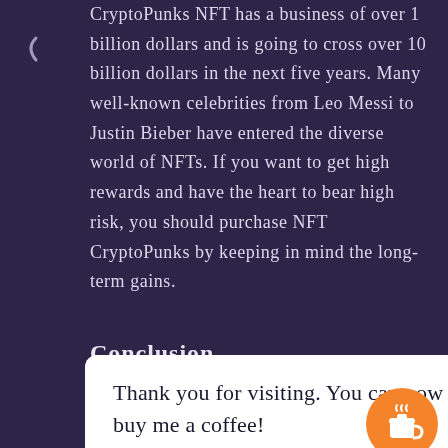CryptoPunks NFT has a business of over 1 billion dollars and is going to cross over 10 billion dollars in the next five years. Many well-known celebrities from Leo Messi to Justin Bieber have entered the diverse world of NFTs. If you want to get high rewards and have the heart to bear high risk, you should purchase NFT CryptoPunks by keeping in mind the long-term gains.
Conclusion
In the future years, the degree to which
[Figure (other): A popup overlay element with white background and rounded corners containing the text 'Thank you for visiting. You can now buy me a coffee!' with an orange circular coffee cup button on the right side.]